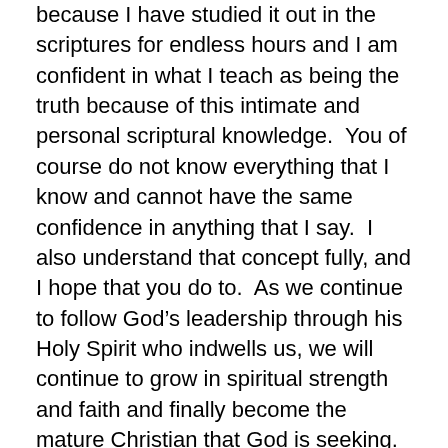because I have studied it out in the scriptures for endless hours and I am confident in what I teach as being the truth because of this intimate and personal scriptural knowledge.  You of course do not know everything that I know and cannot have the same confidence in anything that I say.  I also understand that concept fully, and I hope that you do to.  As we continue to follow God’s leadership through his Holy Spirit who indwells us, we will continue to grow in spiritual strength and faith and finally become the mature Christian that God is seeking.
So do I think that I am an expert, No!   Are there really any experts in the world?  None that I know of!  After all what is there that we can measure that determines a Bible expert?  Is it a title from a seminary or university?   Is it a duration of a time of study?   Does studying the Bible for 10 years make you an expert?  How about 50 years of